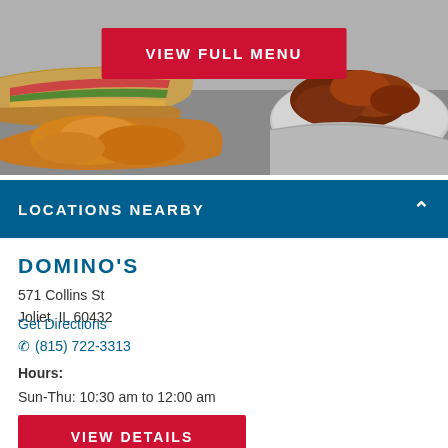[Figure (photo): Food photo showing sandwiches/subs and chicken wings on foil, used as banner image for Domino's restaurant page]
VIEW FULL MENU
LOCATIONS NEARBY
DOMINO'S
571 Collins St
Joliet, IL 60432
Get Directions
(815) 722-3313
Hours:
Sun-Thu: 10:30 am to 12:00 am
Fri-Sat: 10:30 am to 1:00 am
VIEW DETAILS